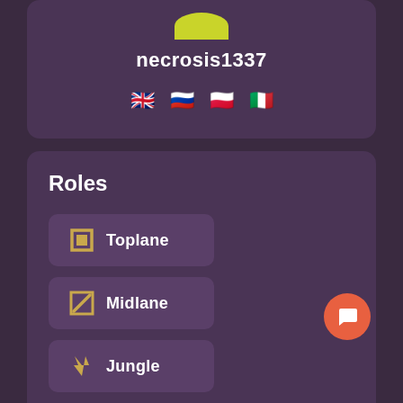necrosis1337
[Figure (illustration): Four circular flag icons: UK flag, Russian flag, Polish flag, Italian flag]
Roles
Toplane
Midlane
Jungle
About